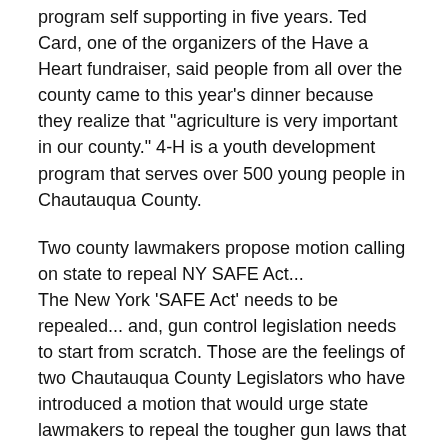program self supporting in five years. Ted Card, one of the organizers of the Have a Heart fundraiser, said people from all over the county came to this year's dinner because they realize that "agriculture is very important in our county." 4-H is a youth development program that serves over 500 young people in Chautauqua County.
Two county lawmakers propose motion calling on state to repeal NY SAFE Act...
The New York 'SAFE Act' needs to be repealed... and, gun control legislation needs to start from scratch. Those are the feelings of two Chautauqua County Legislators who have introduced a motion that would urge state lawmakers to repeal the tougher gun laws that were recently enacted. Legislators Fred Croscut and Robert Stewart have sponsored the measure that will be taken up by the local legislature's public safety committee this week. Croscut recently attended a meeting of the New York Association of Counties... and, says a number of